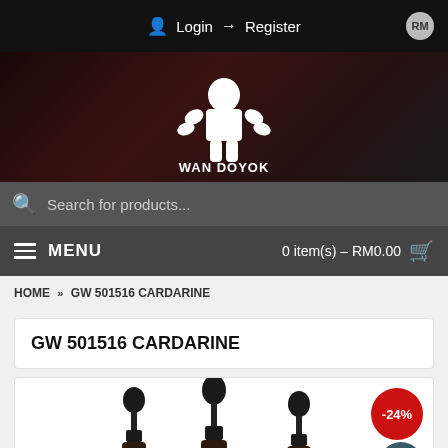Login → Register RM
[Figure (logo): WAN DOYOK logo with muscular figure illustration on dark banner background]
Search for products...
MENU  0 item(s) – RM0.00
HOME » GW 501516 CARDARINE
GW 501516 CARDARINE
[Figure (photo): Three dropper bottles of GW 501516 Cardarine product with a -24% discount badge and scroll-up button]